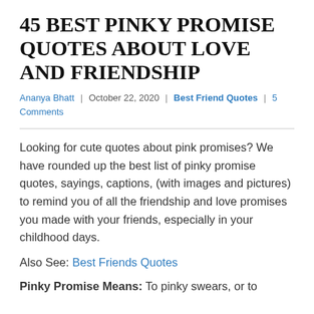45 BEST PINKY PROMISE QUOTES ABOUT LOVE AND FRIENDSHIP
Ananya Bhatt | October 22, 2020 | Best Friend Quotes | 5 Comments
Looking for cute quotes about pink promises? We have rounded up the best list of pinky promise quotes, sayings, captions, (with images and pictures) to remind you of all the friendship and love promises you made with your friends, especially in your childhood days.
Also See: Best Friends Quotes
Pinky Promise Means: To pinky swears, or to